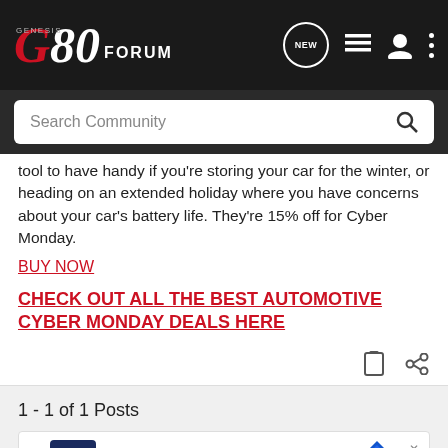Genesis G80 Forum — navigation bar with logo, NEW bubble, icons
Search Community
tool to have handy if you're storing your car for the winter, or heading on an extended holiday where you have concerns about your car's battery life. They're 15% off for Cyber Monday.
BUY NOW
CHECK OUT ALL THE BEST AUTOMOTIVE CYBER MONDAY DEALS HERE
1 - 1 of 1 Posts
This is a ... ould be reviving...
[Figure (screenshot): CarMax advertisement banner: Buy Your Used Car Your Way — CarMax logo and navigation arrow icon]